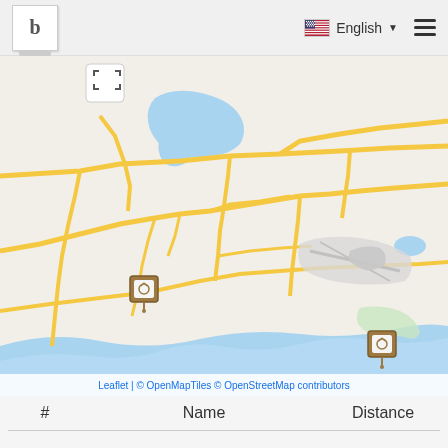b | English ☰
[Figure (map): OpenStreetMap/OpenMapTiles street map showing road network with yellow roads on light grey background, blue water bodies (lake top-left, coastal water bottom), green vegetation area bottom-right, two map markers (building icons) on the left and bottom-right, and a fullscreen button top-left. Attribution: Leaflet | © OpenMapTiles © OpenStreetMap contributors]
| # | Name | Distance |
| --- | --- | --- |